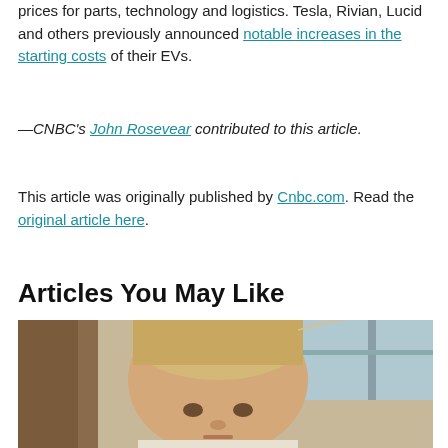prices for parts, technology and logistics. Tesla, Rivian, Lucid and others previously announced notable increases in the starting costs of their EVs.
—CNBC's John Rosevear contributed to this article.
This article was originally published by Cnbc.com. Read the original article here.
Articles You May Like
[Figure (photo): Photo of a young blonde child looking at the camera, taken in what appears to be a rustic wooden setting.]